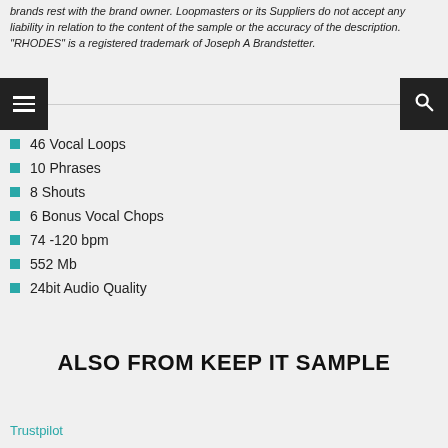brands rest with the brand owner. Loopmasters or its Suppliers do not accept any liability in relation to the content of the sample or the accuracy of the description. "RHODES" is a registered trademark of Joseph A Brandstetter.
[Figure (screenshot): Navigation bar with hamburger menu icon on left (dark background), horizontal line in center, and search icon on right (dark background)]
46 Vocal Loops
10 Phrases
8 Shouts
6 Bonus Vocal Chops
74 -120 bpm
552 Mb
24bit Audio Quality
ALSO FROM KEEP IT SAMPLE
Trustpilot